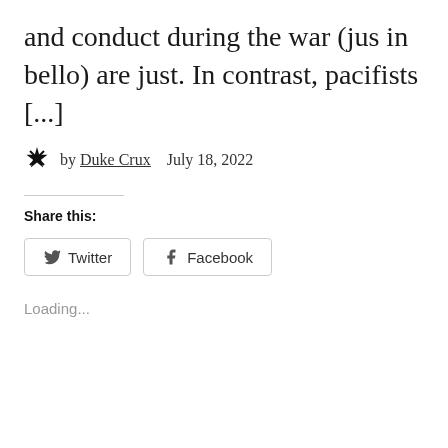and conduct during the war (jus in bello) are just. In contrast, pacifists [...]
by Duke Crux   July 18, 2022
Share this:
Twitter  Facebook
Loading...